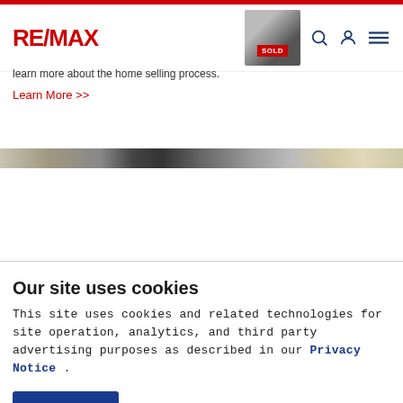RE/MAX
learn more about the home selling process.
Learn More >>
[Figure (photo): Banner image strip showing a house or real estate scene]
Our site uses cookies
This site uses cookies and related technologies for site operation, analytics, and third party advertising purposes as described in our Privacy Notice .
ACCEPT